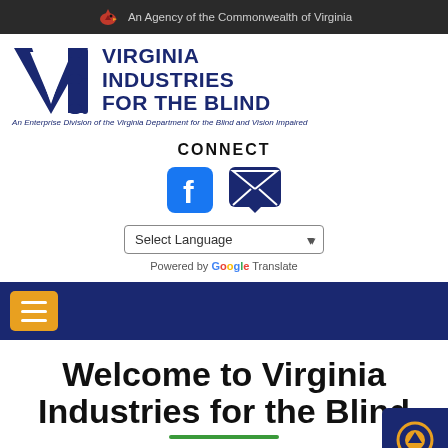An Agency of the Commonwealth of Virginia
[Figure (logo): Virginia Industries for the Blind logo with stylized VIB letters and organization name]
An Enterprise Division of the Virginia Department for the Blind and Vision Impaired
CONNECT
[Figure (illustration): Facebook icon and email/message icon for social media connect]
Select Language
Powered by Google Translate
[Figure (illustration): Navigation hamburger menu button (orange) on dark blue navigation bar]
Welcome to Virginia Industries for the Blind
To employ and develop Virginians who are blind,